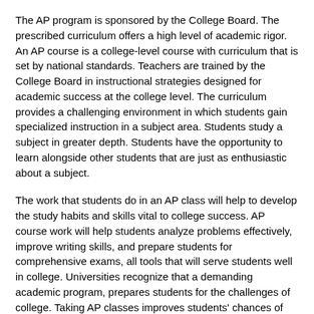The AP program is sponsored by the College Board. The prescribed curriculum offers a high level of academic rigor. An AP course is a college-level course with curriculum that is set by national standards. Teachers are trained by the College Board in instructional strategies designed for academic success at the college level. The curriculum provides a challenging environment in which students gain specialized instruction in a subject area. Students study a subject in greater depth. Students have the opportunity to learn alongside other students that are just as enthusiastic about a subject.
The work that students do in an AP class will help to develop the study habits and skills vital to college success. AP course work will help students analyze problems effectively, improve writing skills, and prepare students for comprehensive exams, all tools that will serve students well in college. Universities recognize that a demanding academic program, prepares students for the challenges of college. Taking AP classes improves students' chances of getting into more selective universities.